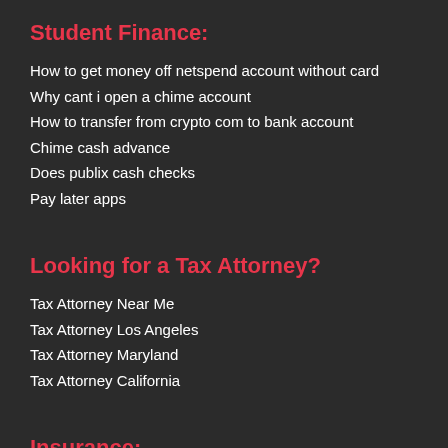Student Finance:
How to get money off netspend account without card
Why cant i open a chime account
How to transfer from crypto com to bank account
Chime cash advance
Does publix cash checks
Pay later apps
Looking for a Tax Attorney?
Tax Attorney Near Me
Tax Attorney Los Angeles
Tax Attorney Maryland
Tax Attorney California
Insurance:
Home insurance claim adjuster secret tactics
Insurance subscriber number